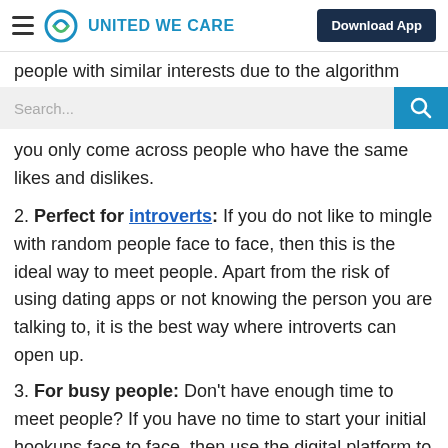UNITED WE CARE | Download App
people with similar interests due to the algorithm
you only come across people who have the same likes and dislikes.
2. Perfect for introverts: If you do not like to mingle with random people face to face, then this is the ideal way to meet people. Apart from the risk of using dating apps or not knowing the person you are talking to, it is the best way where introverts can open up.
3. For busy people: Don't have enough time to meet people? If you have no time to start your initial hookups face to face, then use the digital platform to meet new faces and then confirm to